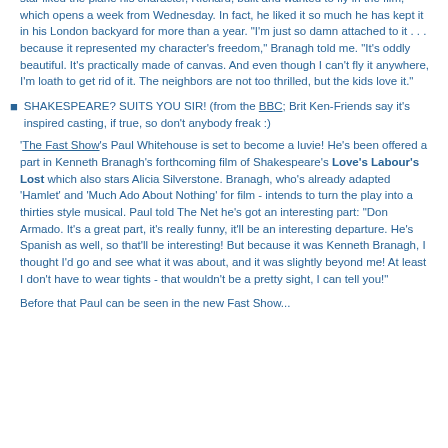star liked the plane his character, Richard, built and wanted to fly in the film, which opens a week from Wednesday. In fact, he liked it so much he has kept it in his London backyard for more than a year. "I'm just so damn attached to it . . . because it represented my character's freedom," Branagh told me. "It's oddly beautiful. It's practically made of canvas. And even though I can't fly it anywhere, I'm loath to get rid of it. The neighbors are not too thrilled, but the kids love it."
SHAKESPEARE? SUITS YOU SIR! (from the BBC; Brit Ken-Friends say it's inspired casting, if true, so don't anybody freak :)
'The Fast Show's Paul Whitehouse is set to become a luvie! He's been offered a part in Kenneth Branagh's forthcoming film of Shakespeare's Love's Labour's Lost which also stars Alicia Silverstone. Branagh, who's already adapted 'Hamlet' and 'Much Ado About Nothing' for film - intends to turn the play into a thirties style musical. Paul told The Net he's got an interesting part: "Don Armado. It's a great part, it's really funny, it'll be an interesting departure. He's Spanish as well, so that'll be interesting! But because it was Kenneth Branagh, I thought I'd go and see what it was about, and it was slightly beyond me! At least I don't have to wear tights - that wouldn't be a pretty sight, I can tell you!"
Before that Paul can be seen in the new Fast Show...